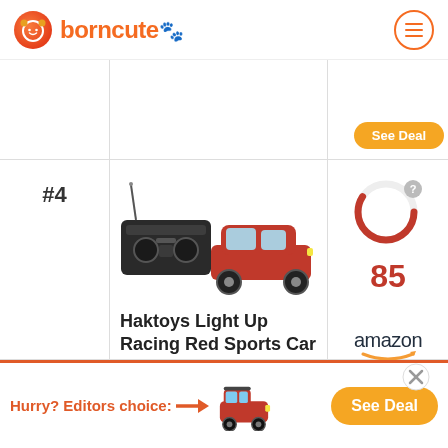borncute
[Figure (photo): RC car toy set — remote control and red sports car]
#4
85
Haktoys Light Up Racing Red Sports Car
SHOW MORE
[Figure (logo): Amazon logo with smile]
Hurry? Editors choice: See Deal